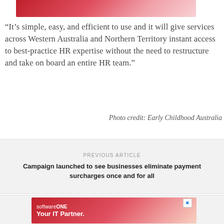[Figure (photo): Partial image at top of page with red/pink gradient background, likely an Early Childhood Australia photo]
“It’s simple, easy, and efficient to use and it will give services across Western Australia and Northern Territory instant access to best-practice HR expertise without the need to restructure and take on board an entire HR team.”
Photo credit: Early Childhood Australia
PREVIOUS ARTICLE
Campaign launched to see businesses eliminate payment surcharges once and for all
[Figure (photo): SoftwareONE advertisement banner: 'Your IT Partner.' with red/pink gradient background]